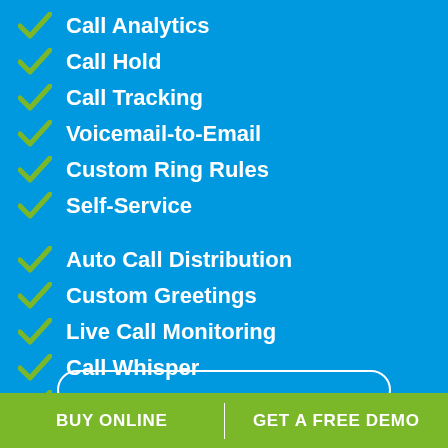Call Analytics
Call Hold
Call Tracking
Voicemail-to-Email
Custom Ring Rules
Self-Service
Auto Call Distribution
Custom Greetings
Live Call Monitoring
Call Whisper
Call Barge
Custom Call Outcomes
Voicemail Transcription
BUY ONLINE | GET A FREE DEMO